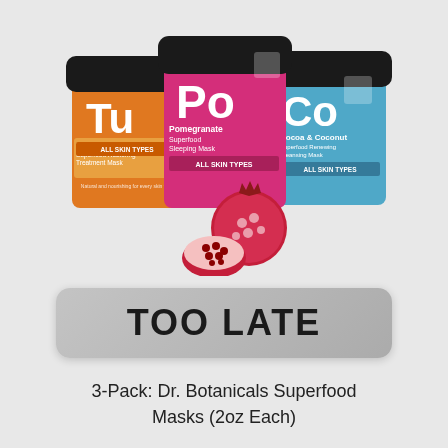[Figure (photo): Three Dr. Botanicals Superfood face mask jars with black lids. Left jar is orange labeled 'Tu Turmeric Superfood Restoring Treatment Mask ALL SKIN TYPES'. Center jar is pink/magenta labeled 'Po Pomegranate Superfood Sleeping Mask ALL SKIN TYPES' with a pomegranate fruit decoration in front. Right jar is blue labeled 'Co Cocoa & Coconut Superfood Renewing Cleansing Mask ALL SKIN TYPES'. Product photo on light gray background.]
TOO LATE
3-Pack: Dr. Botanicals Superfood Masks (2oz Each)